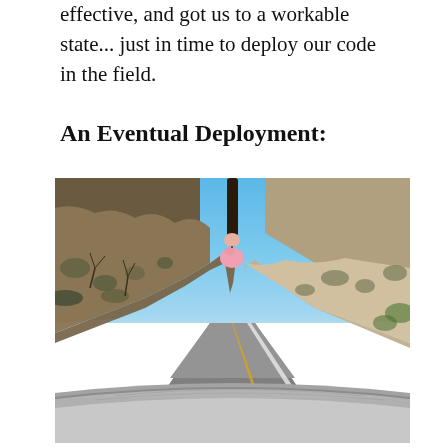effective, and got us to a workable state... just in time to deploy our code in the field.
An Eventual Deployment:
[Figure (photo): View from inside a car dashboard looking out the windshield onto a two-lane winding road flanked by rocky hillsides with sparse dry vegetation under a clear blue sky. A hand holding something (pink object, possibly a toy pig) hangs from above into the frame at the top center.]